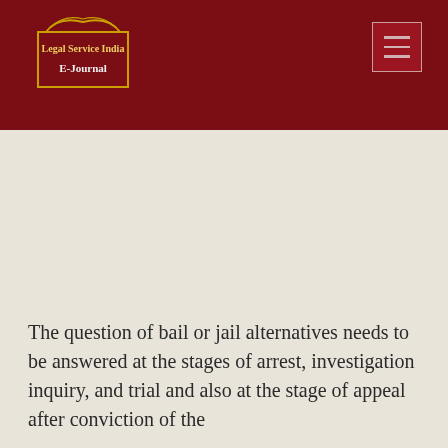Legal Service India E-Journal
The question of bail or jail alternatives needs to be answered at the stages of arrest, investigation inquiry, and trial and also at the stage of appeal after conviction of the